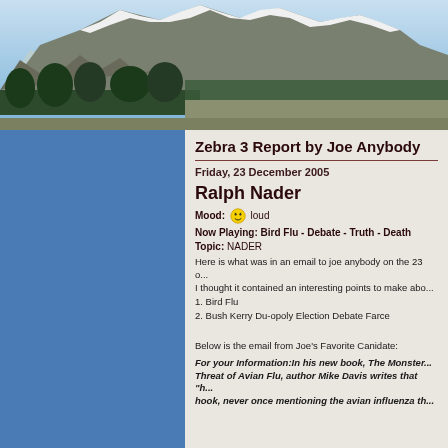[Figure (photo): Panoramic photograph of snow-capped mountains with forested slopes and a valley below, under a blue sky.]
Zebra 3 Report by Joe Anybody
Friday, 23 December 2005
Ralph Nader
Mood: [emoji] loud
Now Playing: Bird Flu - Debate - Truth - Death
Topic: NADER
Here is what was in an email to joe anybody on the 23 o... I thought it contained an interesting points to make abo...
1. Bird Flu
2. Bush Kerry Du-opoly Election Debate Farce
Below is the email from Joe's Favorite Canidate:
For your Information:In his new book, The Monster... Threat of Avian Flu, author Mike Davis writes that "h... hook, never once mentioning the avian influenza th...